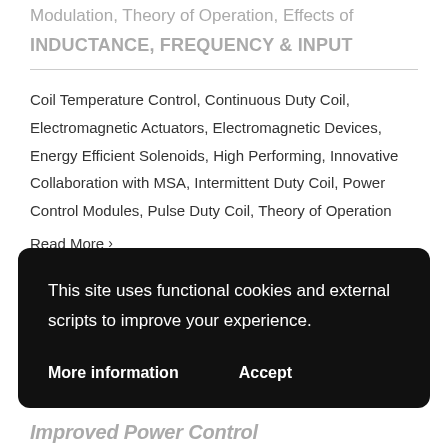Modulation, Theory of Operation, Effects of
INDUCTANCE, FREQUENCY & INPUT
Coil Temperature Control, Continuous Duty Coil, Electromagnetic Actuators, Electromagnetic Devices, Energy Efficient Solenoids, High Performing, Innovative Collaboration with MSA, Intermittent Duty Coil, Power Control Modules, Pulse Duty Coil, Theory of Operation
Read More >
This site uses functional cookies and external scripts to improve your experience.
More information    Accept
Improved Power Control